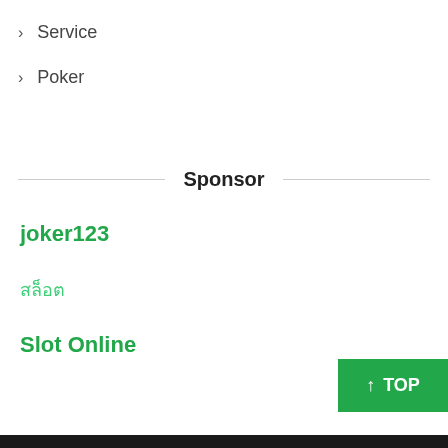> Service
> Poker
Sponsor
joker123
สล็อต
Slot Online